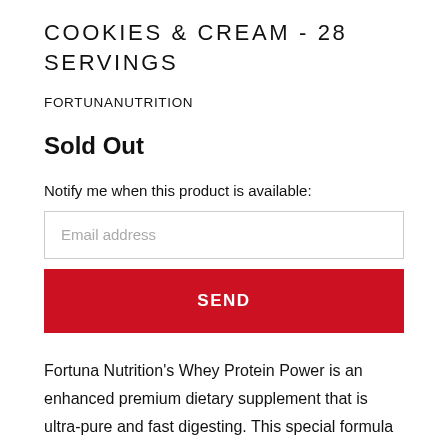COOKIES & CREAM - 28 SERVINGS
FORTUNANUTRITION
Sold Out
Notify me when this product is available:
Email address
SEND
Fortuna Nutrition's Whey Protein Power is an enhanced premium dietary supplement that is ultra-pure and fast digesting. This special formula is great right before workouts, after,